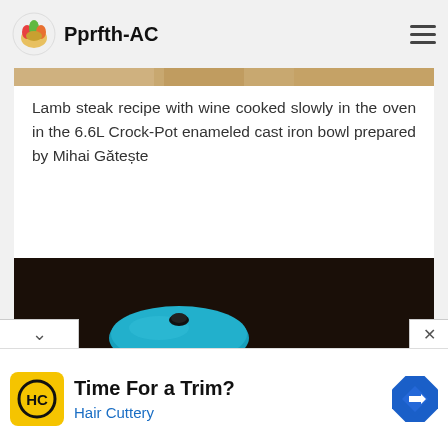Pprfth-AC
[Figure (photo): Partial top of a food photo visible as a strip at top of content card]
Lamb steak recipe with wine cooked slowly in the oven in the 6.6L Crock-Pot enameled cast iron bowl prepared by Mihai Gătește
[Figure (photo): Photo of a teal/blue enameled cast iron Crock-Pot with lid next to a white bowl of lamb steak with sauce, on a wooden surface]
[Figure (other): Advertisement banner: Time For a Trim? Hair Cuttery, with HC logo and navigation arrow icon]